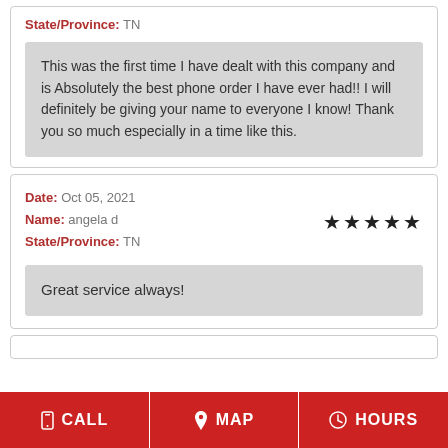State/Province: TN
This was the first time I have dealt with this company and is Absolutely the best phone order I have ever had!! I will definitely be giving your name to everyone I know! Thank you so much especially in a time like this.
Date: Oct 05, 2021
Name: angela d
State/Province: TN
Great service always!
CALL  MAP  HOURS